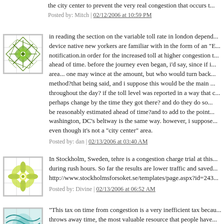the city center to prevent the very real congestion that occurs t...
Posted by: Mitch | 02/12/2006 at 10:59 PM
[Figure (illustration): Green geometric snowflake/star pattern avatar icon with grid border]
in reading the section on the variable toll rate in london depend... device native new yorkers are familiar with in the form of an "E... notification.in order for the increased toll at higher congestion t... ahead of time. before the journey even began, i'd say, since if i... area... one may wince at the amount, but who would turn back... method?that being said, and i suppose this would be the main... throughout the day? if the toll level was reported in a way that c... perhaps change by the time they got there? and do they do so... be reasonably estimated ahead of time?and to add to the point... washington, DC's beltway is the same way. however, i suppose... even though it's not a "city center" area.
Posted by: dan | 02/13/2006 at 03:40 AM
[Figure (illustration): Yellow-green geometric flower/star pattern avatar icon with grid border]
In Stockholm, Sweden, tehre is a congestion charge trial at this... during rush hours. So far the results are lower traffic and saved... http://www.stockholmsforsoket.se/templates/page.aspx?id=243...
Posted by: Divine | 02/13/2006 at 06:52 AM
[Figure (illustration): Teal/cyan geometric wave pattern avatar icon with grid border]
"This tax on time from congestion is a very inefficient tax becau... throws away time, the most valuable resource that people have...